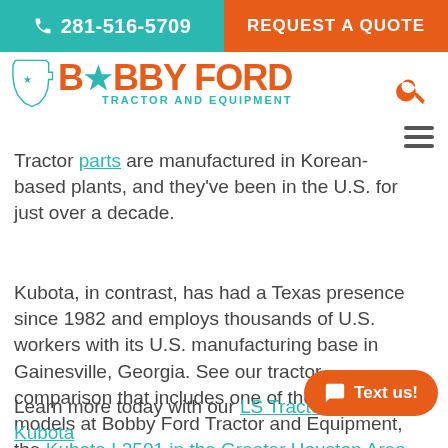☎ 281-516-5709 | REQUEST A QUOTE
[Figure (logo): Bobby Ford Tractor and Equipment logo with Texas state outline and teal star]
Tractor parts are manufactured in Korean-based plants, and they've been in the U.S. for just over a decade.
Kubota, in contrast, has had a Texas presence since 1982 and employs thousands of U.S. workers with its U.S. manufacturing base in Gainesville, Georgia. See our tractor comparison that includes one of the popular models at Bobby Ford Tractor and Equipment, the Kubota L2501 in the Greater Houston Area.
Learn more today with our LS Tractor vs. Kubota